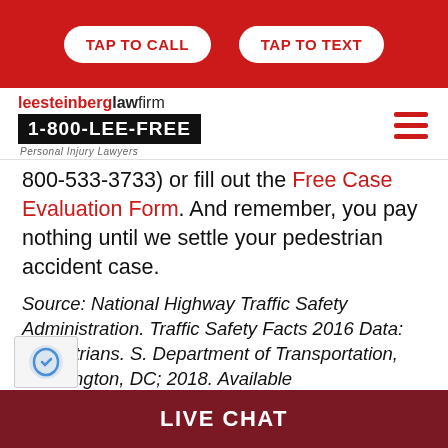TAP TO CALL | TAP TO TEXT
[Figure (logo): Lee Steinberg Law Firm logo with 1-800-LEE-FREE and Personal Injury Lawyers tagline, plus hamburger menu icon]
800-533-3733) or fill out the Free Case Evaluation Form. And remember, you pay nothing until we settle your pedestrian accident case.
Source: National Highway Traffic Safety Administration. Traffic Safety Facts 2016 Data: Pedestrians. S. Department of Transportation, Washington, DC; 2018. Available
LIVE CHAT